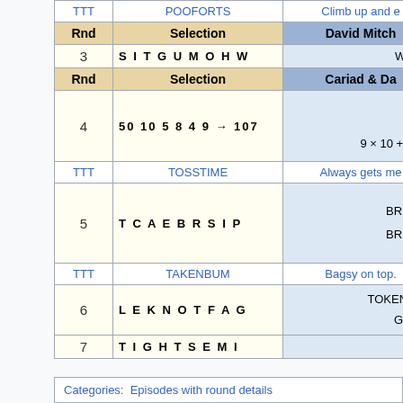| Rnd | Selection | David Mitch... / Cariad & Da... |
| --- | --- | --- |
| TTT | POOFORTS | Climb up and e... |
| Rnd | Selection | David Mitch... |
| 3 | S I T G U M O H W | WHIST |
| Rnd | Selection | Cariad & Da... |
| 4 | 50 10 5 8 4 9 → 107 | 107 — 9 × 10 + 8 + 4 |
| TTT | TOSSTIME | Always gets me... |
| 5 | T C A E B R S I P | BREAST BREAST |
| TTT | TAKENBUM | Bagsy on top. |
| 6 | L E K N O T F A G | TOKEN/TAK... GLOAT |
| 7 | T I G H T S E M I |  |
Categories: Episodes with round details